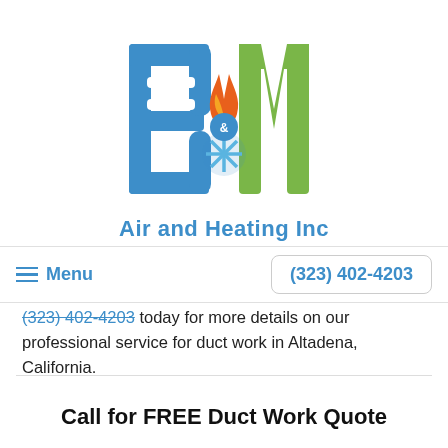[Figure (logo): B&M Air and Heating Inc logo with blue B, green M letters, flame and snowflake icon in center, text 'Air and Heating Inc' below in blue]
Menu
(323) 402-4203
(323) 402-4203 today for more details on our professional service for duct work in Altadena, California.
Call for FREE Duct Work Quote